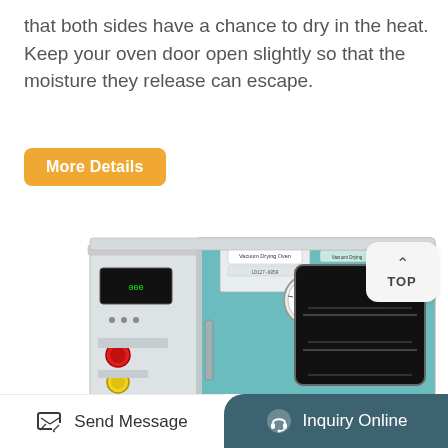that both sides have a chance to dry in the heat. Keep your oven door open slightly so that the moisture they release can escape.
More Details
[Figure (photo): A laboratory vacuum drying oven with a teal/blue chamber door with glass window showing internal shelves, a control panel with digital display and red/yellow buttons on the left side panel, a pressure gauge in the center, and warning labels on the top right corner.]
TOP
Send Message
Inquiry Online